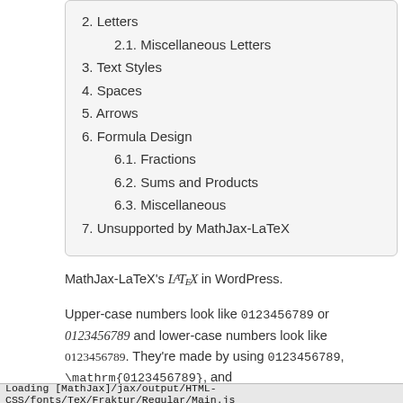2. Letters
2.1. Miscellaneous Letters
3. Text Styles
4. Spaces
5. Arrows
6. Formula Design
6.1. Fractions
6.2. Sums and Products
6.3. Miscellaneous
7. Unsupported by MathJax-LaTeX
MathJax-LaTeX's LaTeX in WordPress.
Upper-case numbers look like 0123456789 or 0123456789 and lower-case numbers look like 0123456789. They're made by using 0123456789, \mathrm{0123456789}, and \mathcal{0123456789}, respectively.
Loading [MathJax]/jax/output/HTML-CSS/fonts/TeX/Fraktur/Regular/Main.js